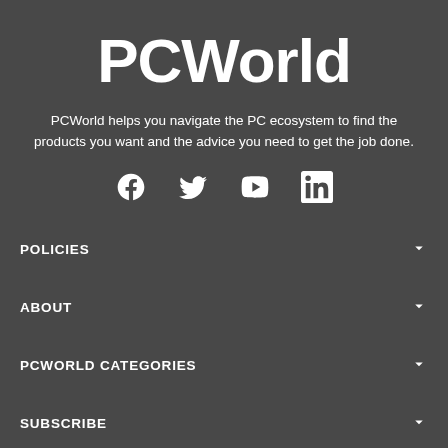PCWorld
PCWorld helps you navigate the PC ecosystem to find the products you want and the advice you need to get the job done.
[Figure (infographic): Social media icons row: Facebook, Twitter, YouTube, LinkedIn]
POLICIES
ABOUT
PCWORLD CATEGORIES
SUBSCRIBE